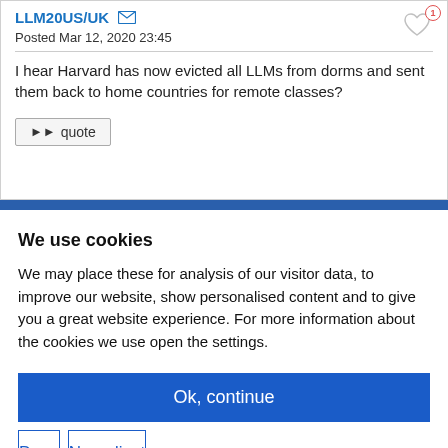LLM20US/UK
Posted Mar 12, 2020 23:45
I hear Harvard has now evicted all LLMs from dorms and sent them back to home countries for remote classes?
quote
We use cookies
We may place these for analysis of our visitor data, to improve our website, show personalised content and to give you a great website experience. For more information about the cookies we use open the settings.
Ok, continue
Deny
No, adjust